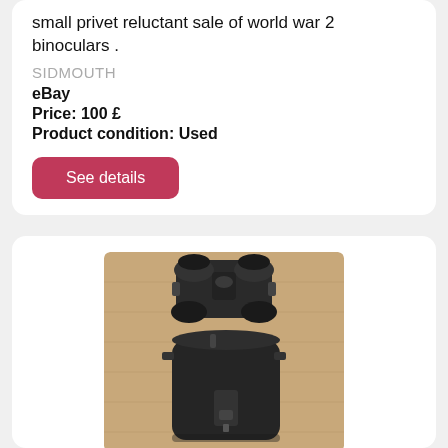small privet reluctant sale of world war 2 binoculars .
SIDMOUTH
eBay
Price: 100 £
Product condition: Used
See details
[Figure (photo): Photo of black WWII military binoculars with a cylindrical black bakelite carrying case on a wooden surface]
German Military ww2 Dienstglas Binoculars in Bakel